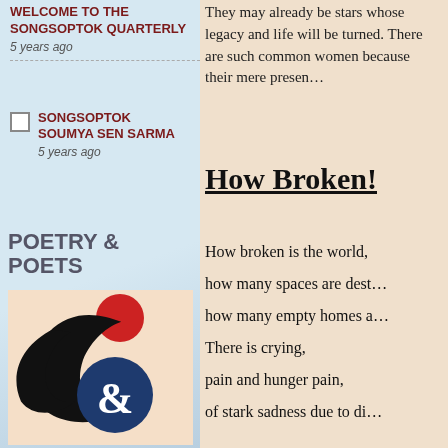WELCOME TO THE SONGSOPTOK QUARTERLY
5 years ago
SONGSOPTOK
SOUMYA SEN SARMA
5 years ago
POETRY & POETS
[Figure (logo): Songsoptok logo: figure with red circle head and black swoosh body, blue circle with white ampersand, on peach background]
They may already be stars whose legacy and life will be turned. There are such common women because their mere presence...
How Broken!
How broken is the world,

how many spaces are destroyed,

how many empty homes are...

There is crying,

pain and hunger pain,

of stark sadness due to disease...